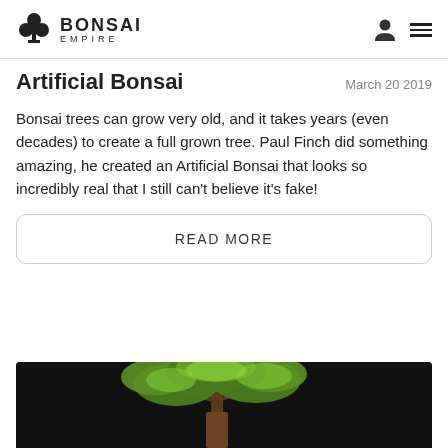BONSAI EMPIRE
Artificial Bonsai
March 20 2019
Bonsai trees can grow very old, and it takes years (even decades) to create a full grown tree. Paul Finch did something amazing, he created an Artificial Bonsai that looks so incredibly real that I still can't believe it's fake!
READ MORE
[Figure (photo): A bonsai tree with lush green foliage against a dark background, partially visible at the bottom of the page.]